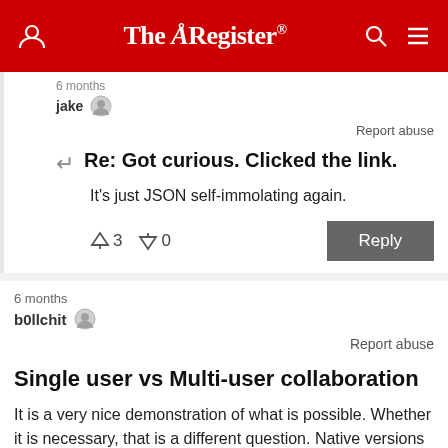The Register
6 months
jake
Report abuse
Re: Got curious. Clicked the link.
It's just JSON self-immolating again.
↑3  ↓0
Reply
6 months
b0llchit
Report abuse
Single user vs Multi-user collaboration
It is a very nice demonstration of what is possible. Whether it is necessary, that is a different question. Native versions have definitely advantages in speed and versatility, but will therefore also open up for larger